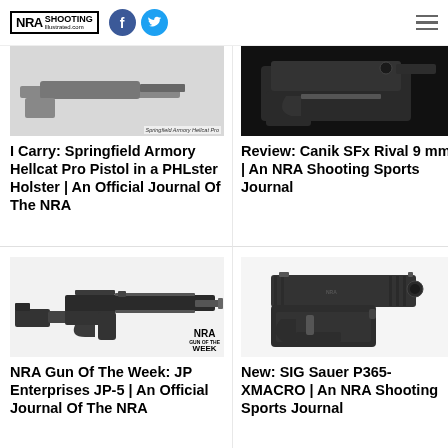NRA Shooting Illustrated | Social media links | Menu
[Figure (photo): Partial view of Springfield Armory Hellcat Pro pistol with caption 'Springfield Armory Hellcat Pro']
I Carry: Springfield Armory Hellcat Pro Pistol in a PHLster Holster | An Official Journal Of The NRA
[Figure (photo): Canik SFx Rival 9mm pistol on dark background]
Review: Canik SFx Rival 9 mm | An NRA Shooting Sports Journal
[Figure (photo): JP Enterprises JP-5 rifle on white background with NRA Gun of the Week logo]
NRA Gun Of The Week: JP Enterprises JP-5 | An Official Journal Of The NRA
[Figure (photo): SIG Sauer P365-XMACRO pistol on white background]
New: SIG Sauer P365-XMACRO | An NRA Shooting Sports Journal